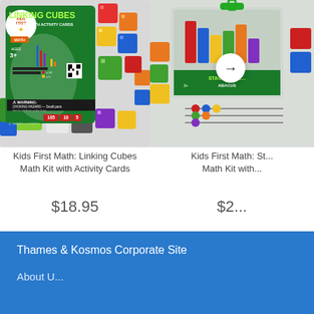[Figure (photo): Kids First Math: Linking Cubes Math Kit with Activity Cards product box — colorful plastic linking cubes in a clear container, with green label showing 'LINKING CUBES MATH KIT WITH ACTIVITY CARDS', Kids First Math badge, Ages 3+, choking hazard warning, and counts 105, 10, 5.]
[Figure (photo): Kids First Math: Stacking Blocks Abacus Math Kit (partially visible, cut off on right). Clear container with colorful stacking blocks and green label.]
Kids First Math: Linking Cubes Math Kit with Activity Cards
$18.95
Kids First Math: St... Math Kit with...
$2...
Thames & Kosmos Corporate Site
About U...